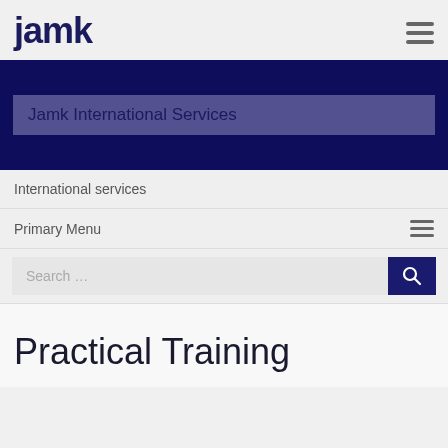jamk
[Figure (screenshot): Jamk logo and hamburger menu icon in header]
Jamk International Services
International services
Primary Menu
Search …
Practical Training